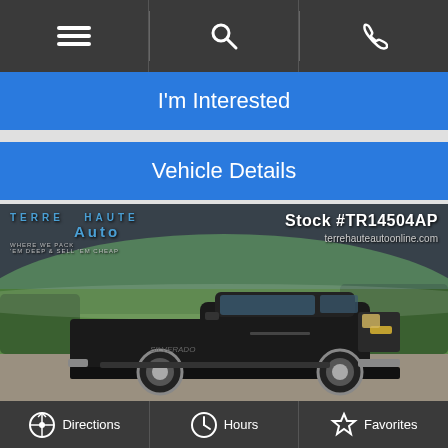Navigation bar with menu, search, and phone icons
I'm Interested
Vehicle Details
[Figure (photo): Black Chevrolet Silverado pickup truck parked on gravel with green field background. Dealer overlay shows 'Terre Haute Auto' logo on the left, and 'Stock #TR14504AP' and 'terrehauteautoonline.com' on the right.]
Directions | Hours | Favorites